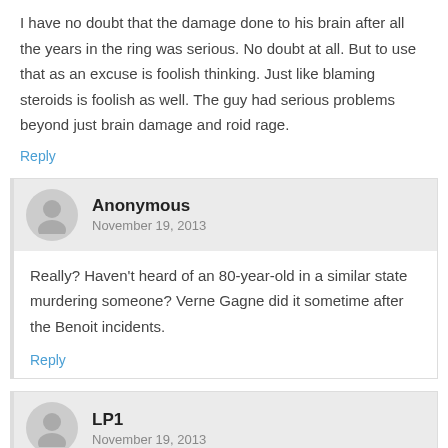I have no doubt that the damage done to his brain after all the years in the ring was serious. No doubt at all. But to use that as an excuse is foolish thinking. Just like blaming steroids is foolish as well. The guy had serious problems beyond just brain damage and roid rage.
Reply
Anonymous
November 19, 2013
Really? Haven’t heard of an 80-year-old in a similar state murdering someone? Verne Gagne did it sometime after the Benoit incidents.
Reply
LP1
November 19, 2013
Verne threw a 97 year old man on the floor. The guy was